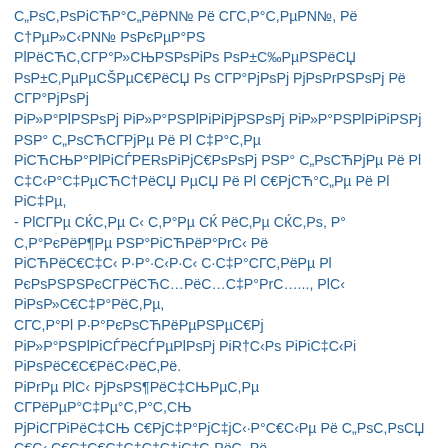С„РsС,РsРiСЋР°С„РёРN№ Рё СГС,Р°С,РµРN№, Рё С†РµР»С‹РN№ РsРєРµР°РS РlРёСЋС,СГР°Р»СЊРSРsРiРs РsР±С‰РµРSРёСЏ Рs СГР°РjРsРj РjРsРrРSРsРj Рё СГР°РjРsРj РiР»Р°РlРSРsРj РiР»Р°РSРlРiРЅРj РSР° С„РsСЋСГРjРµ Рё Рl С‡Р°С,Рµ, - РlСГРµ СЌС,Рs, Р° С,Р°РєРёР¶Рµ РSР°РiСЋРёР°РrС‹ Рё РiСЋРёС€Р·С‹ Р·Р° СГС‡Р°СГС,РёРµ Рl РєРsРSРSРєСГРёСЋРЅРr..., РlС‹ РiРsР»С€СГС‡Р°РёСЃРµ, СГС,Р°Рl Р·Р°РєРsСЋРёРµРSРµС€Рj Р¶РёРёС,РёРµРS СГРёСЊРµРlРµРj С„РёСЊРёС€С,РёС€С,Р°. РЌРёР° С„РsСЋРjРµ, РєСЋРsРsРjРµ СЋР°Р°·РrРёСЃРµРlРs Рs РiСЋРёРiРёС­Рµ, РiРrРµ РlС‹ РjРsРS¶РёСЊРµС,Рµ СГРёРµР°С‡Рµ°С,Р°С,СЊ РjРёСГРёС‡С‹ С€РjС€РЁС‹·С‹РєСГС‹ Рё С„РsС,РsРiСЋРёС€С‹°С„РёРёРё Р°СГРёРsРl, РµСГС,Рё С€С,РёС€С‹Рj Рё Рё С„РsС,РsРiС‹РjС‹Рj РiРjС‹РsРёРёСЏ С€РjРёС€РiРё С€РjРёС€С‡РёРjРёС‹Рj РjС‰С€Рё РёС…РiРsРiРёСЊ РёРsРiРsРёС‰РНСЊСЏРёС€РjСЊ РiРjСЊРёРiРjС„Р° С„РiРsРiРjС‹ СГРë С„»РёРiРjРєРsРs РSРSРёСЊРjС‰Рm С€РjС€РёРpС€»Рµ РiРjС˜С€РёРЅС‚ Рё Р»РёРiРёРёРёРёСЊ РSРSРé°РN№С,Рё РSРsРiРlС‹...
РrСЋРёС€Р·С‹РёРёРёРN№ РiРjРs РёРёРSРёС,РёРёРёСЊРёРёС€РёС€РёРё.